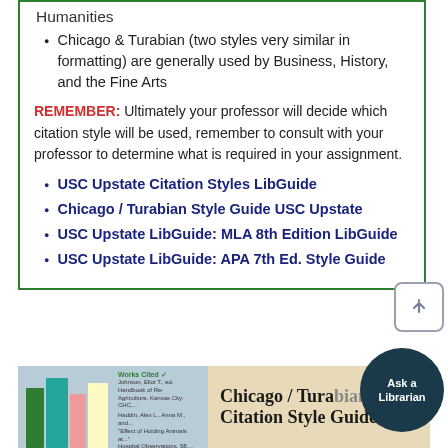Humanities
Chicago & Turabian (two styles very similar in formatting) are generally used by Business, History, and the Fine Arts
REMEMBER: Ultimately your professor will decide which citation style will be used, remember to consult with your professor to determine what is required in your assignment.
USC Upstate Citation Styles LibGuide
Chicago / Turabian Style Guide USC Upstate
USC Upstate LibGuide: MLA 8th Edition LibGuide
USC Upstate LibGuide: APA 7th Ed. Style Guide
[Figure (screenshot): Bottom portion showing a book image on the left with a Works Cited list, and large bold text reading 'Chicago / Turabian Citation Style Guide' on a tan background, with an 'Ask a Librarian' circular dark button overlapping]
Chicago / Turabian Citation Style Guide